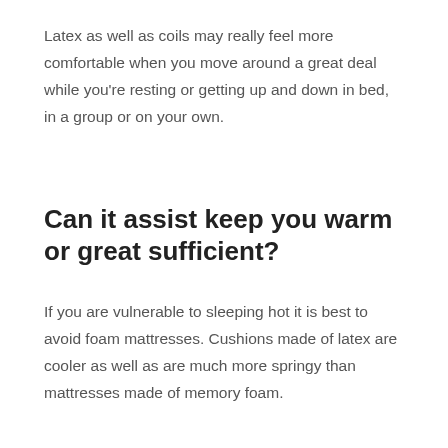Latex as well as coils may really feel more comfortable when you move around a great deal while you're resting or getting up and down in bed, in a group or on your own.
Can it assist keep you warm or great sufficient?
If you are vulnerable to sleeping hot it is best to avoid foam mattresses. Cushions made of latex are cooler as well as are much more springy than mattresses made of memory foam.
Excellent edge support will certainly make certain that you've got a solid surface to sit on, without needing to stress over sliding across the bed mattress.
Does the side have sufficient toughness to stand up to the needs